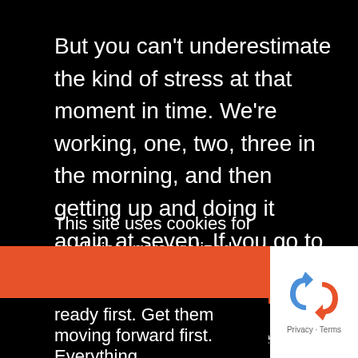But you can’t underestimate the kind of stress at that moment in time. We’re working, one, two, three in the morning, and then getting up and doing it again at seven. If you go to sleep before two, you wake up an hour later thinking about what you missed, what you could do better, and what you don’t know.
This site uses cookies for analytics, personalized content and ads. By continuing to browse this site, you agree to this use. Please view our Terms of Use and Privacy Policy for additional information.
Dismiss
ready first. Get them moving forward first. Everything